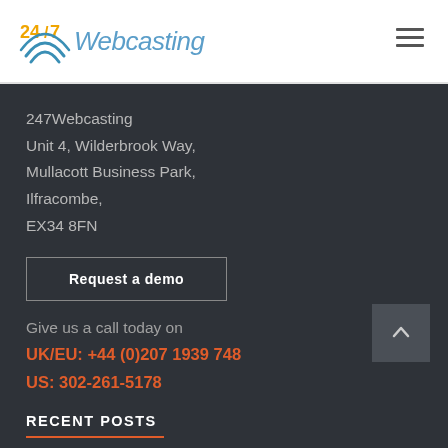[Figure (logo): 247 Webcasting logo with signal icon and stylized text]
247Webcasting
Unit 4, Wilderbrook Way,
Mullacott Business Park,
Ilfracombe,
EX34 8FN
Request a demo
Give us a call today on
UK/EU: +44 (0)207 1939 748
US: 302-261-5178
RECENT POSTS